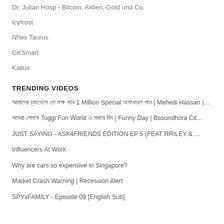Dr. Julian Hosp - Bitcoin, Aktien, Gold und Co.
Icyfrost
Nhes Taurus
GKSmart
Kailux
TRENDING VIDEOS
আমাদের চ্যানেলে তে লক্ষ সাব 1 Million Special অসাধারণ গান | Mehedi Hassan |…
আমরা গেলাম Toggi Fun World এ মজার দিন | Funny Day | Bosundhora Cit...
JUST SAYING - ASK4FRIENDS EDITION EP 5 (FEAT RRILEY & …
Influencers At Work
Why are cars so expensive in Singapore?
Market Crash Warning | Recession Alert
SPYxFAMILY - Episode 09 [English Sub]